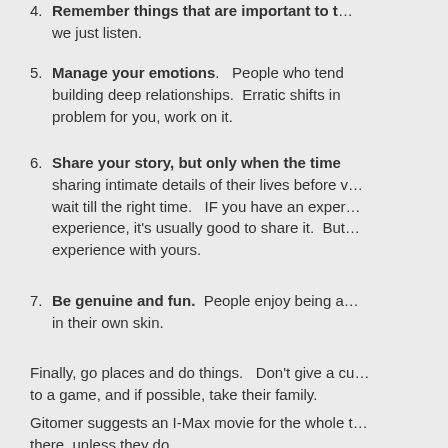4. Remember things that are important to t... we just listen.
5. Manage your emotions. People who tend... building deep relationships. Erratic shifts in... problem for you, work on it.
6. Share your story, but only when the time... sharing intimate details of their lives before w... wait till the right time. IF you have an exper... experience, it's usually good to share it. But... experience with yours.
7. Be genuine and fun. People enjoy being a... in their own skin.
Finally, go places and do things. Don't give a cu... to a game, and if possible, take their family.
Gitomer suggests an I-Max movie for the whole t... there, unless they do.
Don't have time for all this relationship building s... mundane job where it doesn't matter. Because i...